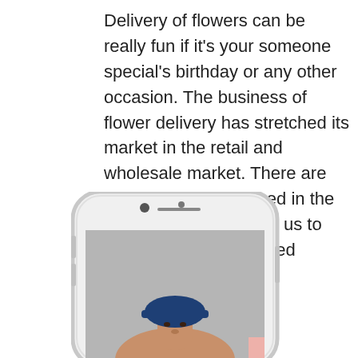Delivery of flowers can be really fun if it's your someone special's birthday or any other occasion. The business of flower delivery has stretched its market in the retail and wholesale market. There are different apps launched in the market which can help us to get our flowers delivered without any kind of complication.
[Figure (photo): A smartphone (iPhone-style white phone) displaying a photo of a delivery person wearing a blue cap, shown from approximately chest up, against a gray background. A pink rectangle is visible in the bottom right corner of the image.]